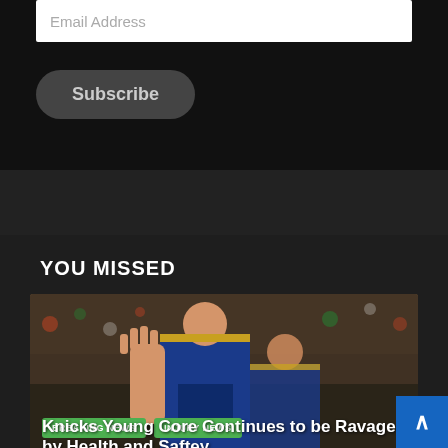Email Address
Subscribe
YOU MISSED
[Figure (photo): Basketball player in blue and gold uniform with crowd in background]
BREAKING NEWS
INJURY NEWS
Knicks Young Core Continues to be Ravaged by Health and Saftey Protocols